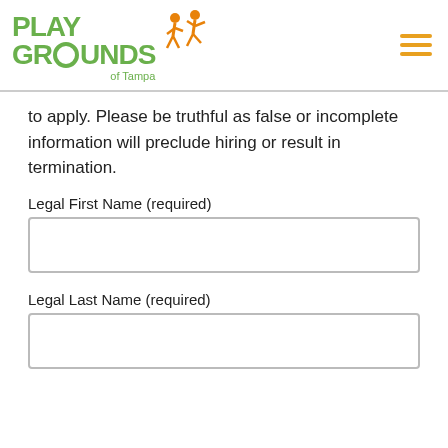[Figure (logo): Playgrounds of Tampa logo with orange children figures and green bold text]
to apply. Please be truthful as false or incomplete information will preclude hiring or result in termination.
Legal First Name (required)
Legal Last Name (required)